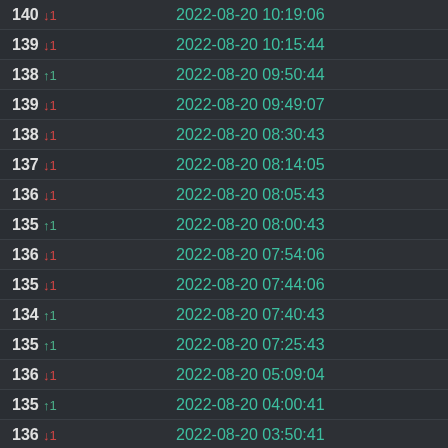| Value | Datetime |
| --- | --- |
| 140 ↓1 | 2022-08-20 10:19:06 |
| 139 ↓1 | 2022-08-20 10:15:44 |
| 138 ↑1 | 2022-08-20 09:50:44 |
| 139 ↓1 | 2022-08-20 09:49:07 |
| 138 ↓1 | 2022-08-20 08:30:43 |
| 137 ↓1 | 2022-08-20 08:14:05 |
| 136 ↓1 | 2022-08-20 08:05:43 |
| 135 ↑1 | 2022-08-20 08:00:43 |
| 136 ↓1 | 2022-08-20 07:54:06 |
| 135 ↓1 | 2022-08-20 07:44:06 |
| 134 ↑1 | 2022-08-20 07:40:43 |
| 135 ↑1 | 2022-08-20 07:25:43 |
| 136 ↓1 | 2022-08-20 05:09:04 |
| 135 ↑1 | 2022-08-20 04:00:41 |
| 136 ↓1 | 2022-08-20 03:50:41 |